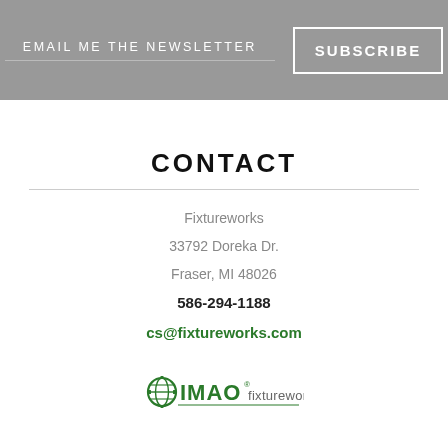EMAIL ME THE NEWSLETTER
SUBSCRIBE
CONTACT
Fixtureworks
33792 Doreka Dr.
Fraser, MI 48026
586-294-1188
cs@fixtureworks.com
[Figure (logo): IMAO Fixtureworks logo with green globe/gear icon and IMAO text in green, followed by fixtureworks in gray sans-serif]